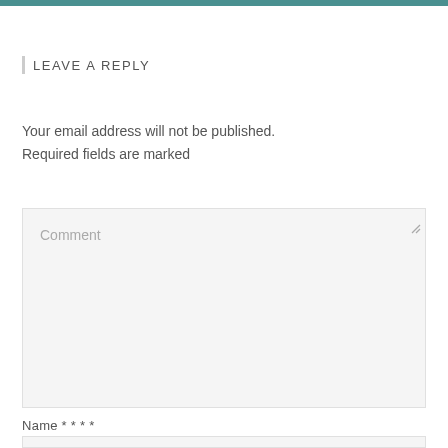LEAVE A REPLY
Your email address will not be published. Required fields are marked
Comment
Name * * * *